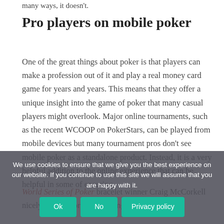many ways, it doesn't.
Pro players on mobile poker
One of the great things about poker is that players can make a profession out of it and play a real money card game for years and years. This means that they offer a unique insight into the game of poker that many casual players might overlook. Major online tournaments, such as the recent WCOOP on PokerStars, can be played from mobile devices but many tournament pros don't see mobile poker as a standalone product. Instead, it is a very helpful addition to the online experience that can be helpful in some of ensuring...
World Series of Poker bracelet winner Craig McCorkell nicely presents or d by stating that he...
We use cookies to ensure that we give you the best experience on our website. If you continue to use this site we will assume that you are happy with it.